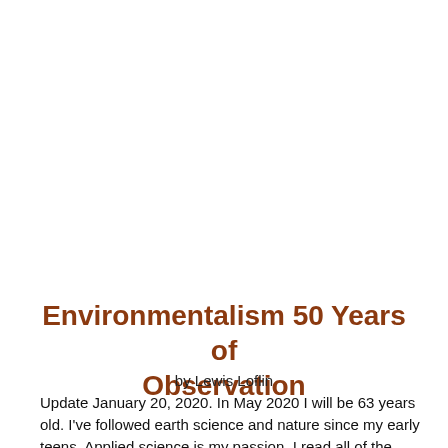Environmentalism 50 Years of Observation
by Lewis Loflin
Update January 20, 2020. In May 2020 I will be 63 years old. I've followed earth science and nature since my early teens. Applied science is my passion. I read all of the literature on